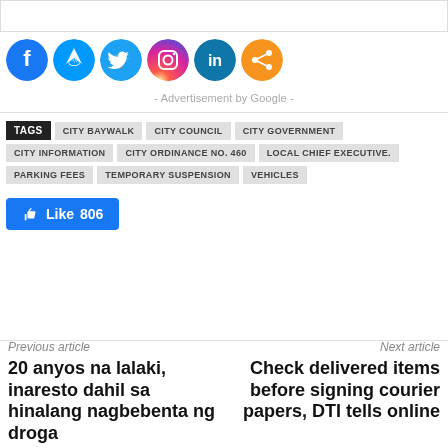[Figure (other): Social media share icons: Facebook, Messenger, Twitter, Instagram, LinkedIn, Share]
- Advertisement by Google -
TAGS  CITY BAYWALK  CITY COUNCIL  CITY GOVERNMENT  CITY INFORMATION  CITY ORDINANCE NO. 460  LOCAL CHIEF EXECUTIVE.  PARKING FEES  TEMPORARY SUSPENSION  VEHICLES
[Figure (other): Facebook Like button showing 806 likes]
Previous article
20 anyos na lalaki, inaresto dahil sa hinalang nagbebenta ng droga
Next article
Check delivered items before signing courier papers, DTI tells online